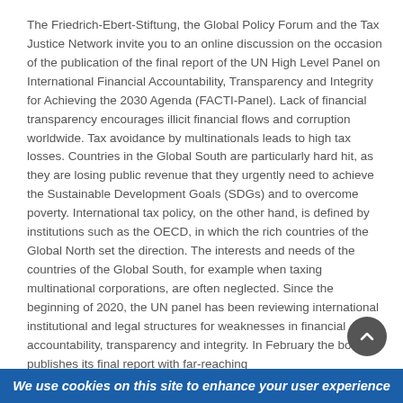The Friedrich-Ebert-Stiftung, the Global Policy Forum and the Tax Justice Network invite you to an online discussion on the occasion of the publication of the final report of the UN High Level Panel on International Financial Accountability, Transparency and Integrity for Achieving the 2030 Agenda (FACTI-Panel). Lack of financial transparency encourages illicit financial flows and corruption worldwide. Tax avoidance by multinationals leads to high tax losses. Countries in the Global South are particularly hard hit, as they are losing public revenue that they urgently need to achieve the Sustainable Development Goals (SDGs) and to overcome poverty. International tax policy, on the other hand, is defined by institutions such as the OECD, in which the rich countries of the Global North set the direction. The interests and needs of the countries of the Global South, for example when taxing multinational corporations, are often neglected. Since the beginning of 2020, the UN panel has been reviewing international institutional and legal structures for weaknesses in financial accountability, transparency and integrity. In February the body publishes its final report with far-reaching
We use cookies on this site to enhance your user experience